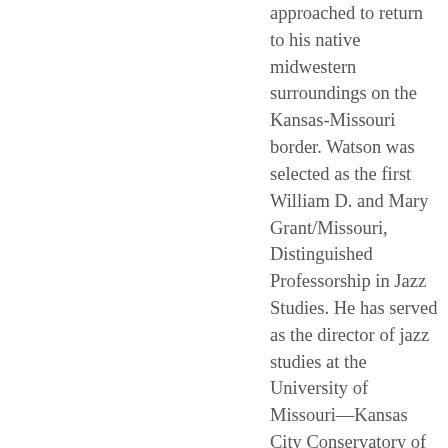approached to return to his native midwestern surroundings on the Kansas-Missouri border. Watson was selected as the first William D. and Mary Grant/Missouri, Distinguished Professorship in Jazz Studies. He has served as the director of jazz studies at the University of Missouri—Kansas City Conservatory of Music, although he still